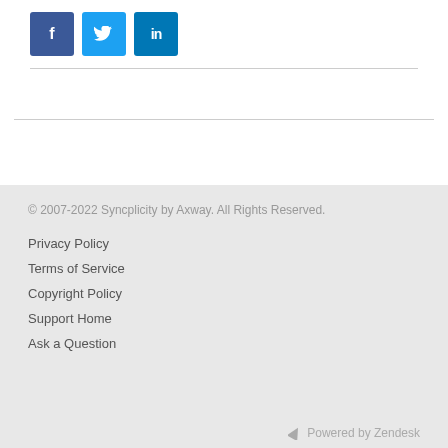[Figure (infographic): Three social media icon buttons: Facebook (dark blue), Twitter (light blue), LinkedIn (blue)]
© 2007-2022 Syncplicity by Axway. All Rights Reserved.

Privacy Policy
Terms of Service
Copyright Policy
Support Home
Ask a Question

Powered by Zendesk